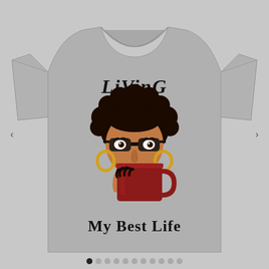[Figure (illustration): Product photo of a gray t-shirt with a graphic design. The design shows a cartoon Black woman with natural curly hair, wearing large black glasses and gold hoop earrings, holding a dark red/maroon mug up to her face. Above the illustration is the text 'Living' in bold script, and below is the text 'My Best Life' in bold block letters. Navigation arrows appear on the left and right sides, and carousel dots appear at the bottom.]